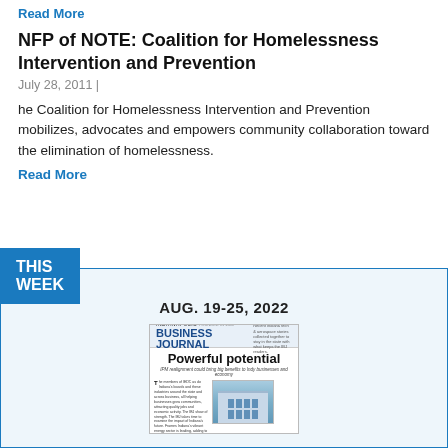Read More
NFP of NOTE: Coalition for Homelessness Intervention and Prevention
July 28, 2011 |
he Coalition for Homelessness Intervention and Prevention mobilizes, advocates and empowers community collaboration toward the elimination of homelessness.
Read More
THIS WEEK
AUG. 19-25, 2022
[Figure (photo): Cover of Indianapolis Business Journal magazine issue AUG. 19-25, 2022. Headline reads 'Powerful potential' with subheadline 'IPM realignment could bring big benefits to Indy businesses and economy'. Features a photo of a modern building and article text.]